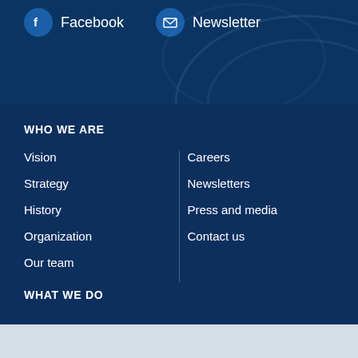Facebook   Newsletter
WHO WE ARE
Vision
Careers
Strategy
Newsletters
History
Press and media
Organization
Contact us
Our team
WHAT WE DO
We use cookies on our website to make your experience better. Your personal data is safe and we do not sell it to anyone.
Accept cookies   Decline